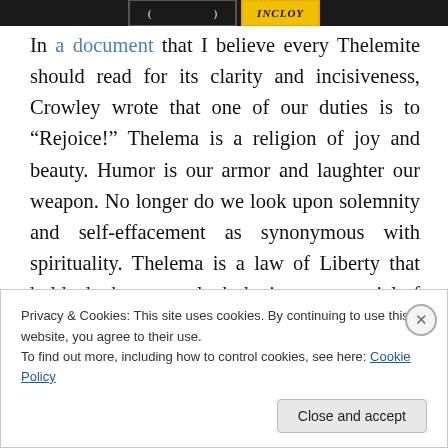[Figure (screenshot): Partial banner image showing two button-like elements: a dark/black one on the left and a yellow one with text 'MCLOY' or similar on the right]
In a document that I believe every Thelemite should read for its clarity and incisiveness, Crowley wrote that one of our duties is to “Rejoice!” Thelema is a religion of joy and beauty. Humor is our armor and laughter our weapon. No longer do we look upon solemnity and self-effacement as synonymous with spirituality. Thelema is a law of Liberty that holds the keys to unlock the innate potential of every individual, to release ourselves from the burden of sorrow and fear, and to allow ourselves to be ourselves and
Privacy & Cookies: This site uses cookies. By continuing to use this website, you agree to their use.
To find out more, including how to control cookies, see here: Cookie Policy
Close and accept